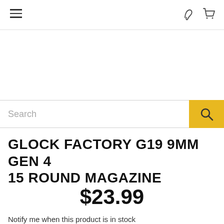Navigation header with hamburger menu, phone icon, and cart icon
Search
GLOCK FACTORY G19 9MM GEN 4 15 ROUND MAGAZINE
$23.99
Notify me when this product is in stock